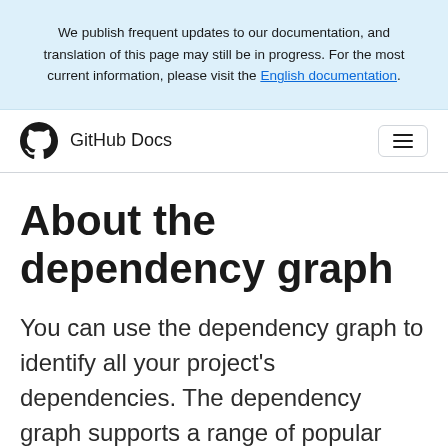We publish frequent updates to our documentation, and translation of this page may still be in progress. For the most current information, please visit the English documentation.
GitHub Docs
About the dependency graph
You can use the dependency graph to identify all your project's dependencies. The dependency graph supports a range of popular package ecosystems.